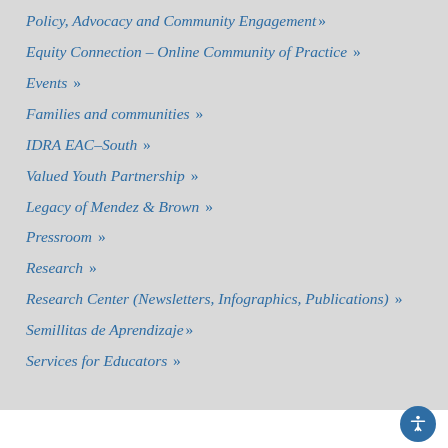Policy, Advocacy and Community Engagement»
Equity Connection - Online Community of Practice »
Events »
Families and communities »
IDRA EAC-South »
Valued Youth Partnership »
Legacy of Mendez & Brown »
Pressroom »
Research »
Research Center (Newsletters, Infographics, Publications) »
Semillitas de Aprendizaje»
Services for Educators »